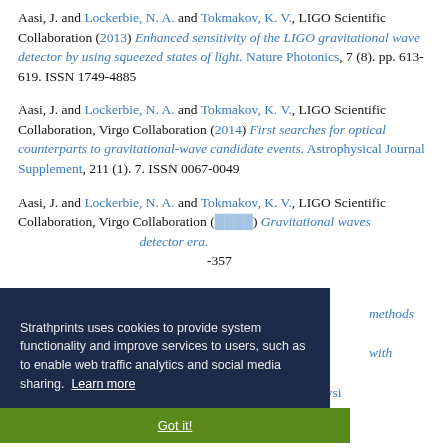Aasi, J. and Lockerbie, N. A. and Tokmakov, K. V., LIGO Scientific Collaboration (2013) Enhanced sensitivity of the LIGO gravitational wave detector by using squeezed states of light. Nature Photonics, 7 (8). pp. 613-619. ISSN 1749-4885
Aasi, J. and Lockerbie, N. A. and Tokmakov, K. V., LIGO Scientific Collaboration, Virgo Collaboration (2014) First searches for optical counterparts to gravitational-wave candidate events. Astrophysical Journal Supplement, 211 (1). 7. ISSN 0067-0049
Aasi, J. and Lockerbie, N. A. and Tokmakov, K. V., LIGO Scientific Collaboration, Virgo Collaboration (2014) Gravitational waves from known pulsars: results from the initial detector era. ... -357
... V., LIGO Scientific Collaboration ... methods and results ... with gamma-ray ... in the GEO 600, LIGO and Virgo detectors. Physical ...
Strathprints uses cookies to provide system functionality and improve services to users, such as to enable web traffic analytics and social media sharing. Learn more
Got it!